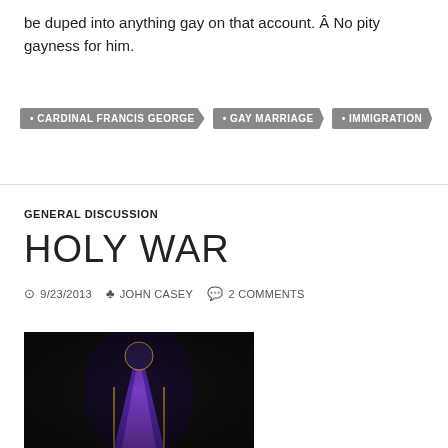be duped into anything gay on that account. Â No pity gayness for him.
CARDINAL FRANCIS GEORGE
GAY MARRIAGE
IMMIGRATION
GENERAL DISCUSSION
HOLY WAR
9/23/2013   JOHN CASEY   2 COMMENTS
[Figure (photo): Dark photograph showing a figure in purple and gold religious vestments or regalia against a black background]